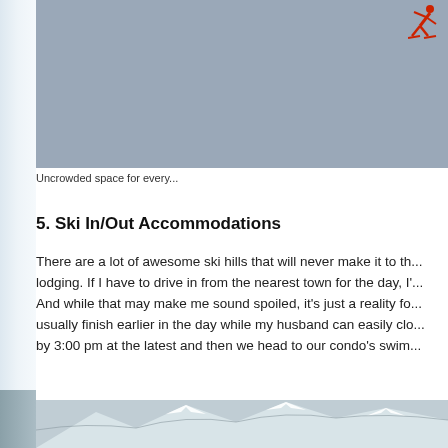[Figure (photo): Aerial or open sky photo showing a skier (small figure in red) against a grey-blue overcast sky, appearing near the top-right corner of the image.]
Uncrowded space for every...
5. Ski In/Out Accommodations
There are a lot of awesome ski hills that will never make it to th... lodging. If I have to drive in from the nearest town for the day, I'... And while that may make me sound spoiled, it's just a reality fo... usually finish earlier in the day while my husband can easily clo... by 3:00 pm at the latest and then we head to our condo's swim...
[Figure (photo): Snow-covered mountain peaks with dramatic ridgeline against a cloudy grey sky. Rocky mountains with snow and clouds visible.]